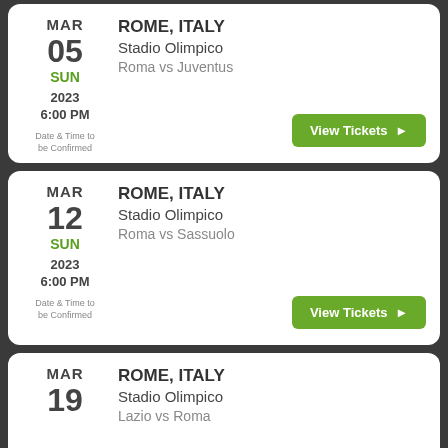MAR 05 SUN 2023 6:00 PM Date & Time to be Confirmed | ROME, ITALY | Stadio Olimpico | Roma vs Juventus | View Tickets
MAR 12 SUN 2023 6:00 PM Date & Time to be Confirmed | ROME, ITALY | Stadio Olimpico | Roma vs Sassuolo | View Tickets
MAR 19 | ROME, ITALY | Stadio Olimpico | Lazio vs Roma | View Tickets